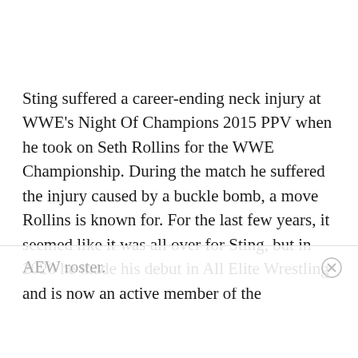Sting suffered a career-ending neck injury at WWE's Night Of Champions 2015 PPV when he took on Seth Rollins for the WWE Championship. During the match he suffered the injury caused by a buckle bomb, a move Rollins is known for. For the last few years, it seemed like it was all over for Sting, but in 2020 he made his debut in All Elite Wrestling and is now an active member of the AEW roster.